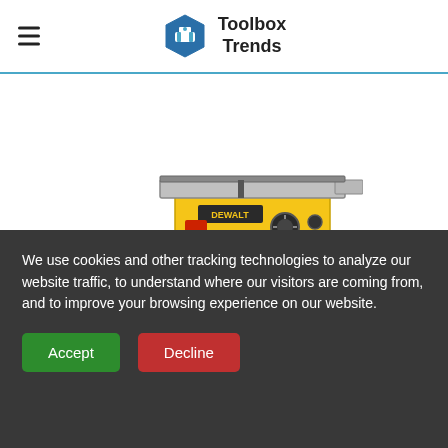Toolbox Trends
[Figure (photo): A yellow DeWalt table saw with black stand and wheels, partially cropped at top]
Check Price on Amazon
We use cookies and other tracking technologies to analyze our website traffic, to understand where our visitors are coming from, and to improve your browsing experience on our website.
Accept
Decline